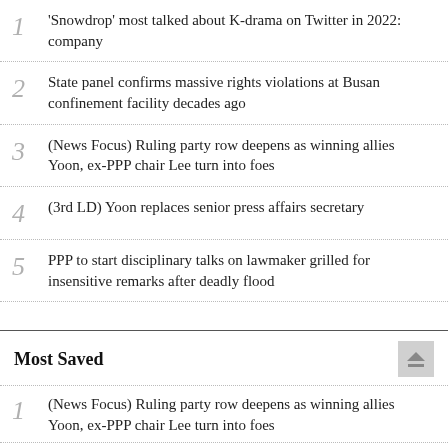1. 'Snowdrop' most talked about K-drama on Twitter in 2022: company
2. State panel confirms massive rights violations at Busan confinement facility decades ago
3. (News Focus) Ruling party row deepens as winning allies Yoon, ex-PPP chair Lee turn into foes
4. (3rd LD) Yoon replaces senior press affairs secretary
5. PPP to start disciplinary talks on lawmaker grilled for insensitive remarks after deadly flood
Most Saved
1. (News Focus) Ruling party row deepens as winning allies Yoon, ex-PPP chair Lee turn into foes